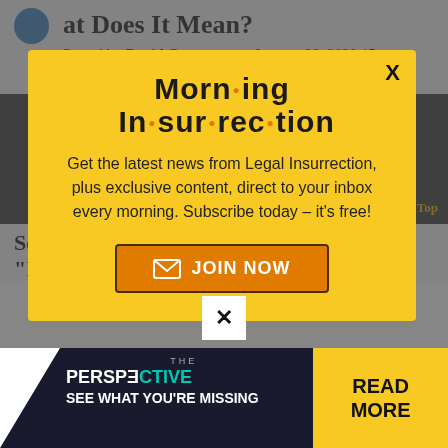at Does It Mean?
Posted by David Gerstman on January 29, 2020 15 Comments
[Figure (screenshot): Modal popup overlay for Morning Insurrection newsletter signup on Legal Insurrection website. Yellow modal with bold title 'Morning Insurrection', body text about newsletter, and orange JOIN NOW button. Background shows article page with dark image area and advertisement banner.]
Sep
“Israeli Policeman and